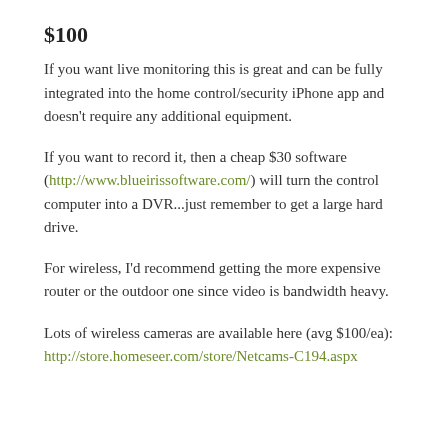$100
If you want live monitoring this is great and can be fully integrated into the home control/security iPhone app and doesn't require any additional equipment.
If you want to record it, then a cheap $30 software (http://www.blueirissoftware.com/) will turn the control computer into a DVR...just remember to get a large hard drive.
For wireless, I'd recommend getting the more expensive router or the outdoor one since video is bandwidth heavy.
Lots of wireless cameras are available here (avg $100/ea): http://store.homeseer.com/store/Netcams-C194.aspx